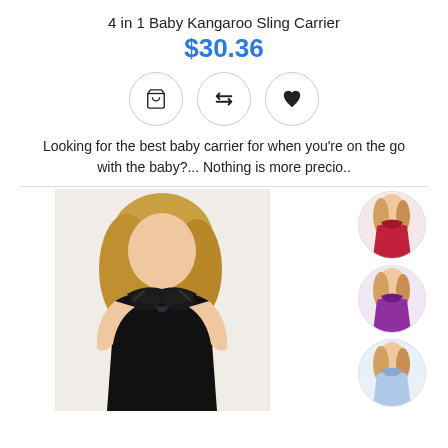4 in 1 Baby Kangaroo Sling Carrier
$30.36
[Figure (other): Three circular icon buttons: shopping cart, compare arrows, and heart/wishlist]
Looking for the best baby carrier for when you’re on the go with the baby?... Nothing is more precio..
[Figure (photo): Main product photo of a woman wearing black lingerie babydoll, with four circular thumbnail images on the right showing red, purple, light blue, and dark purple color variants]